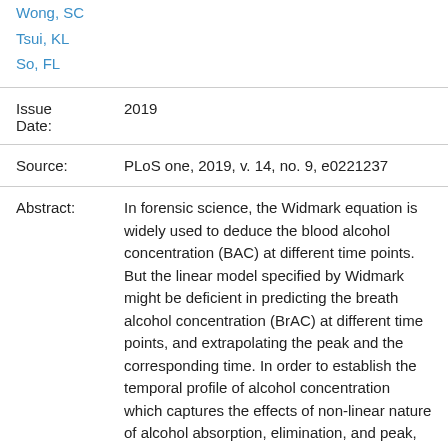Wong, SC
Tsui, KL
So, FL
| Issue Date: | 2019 |
| Source: | PLoS one, 2019, v. 14, no. 9, e0221237 |
| Abstract: | In forensic science, the Widmark equation is widely used to deduce the blood alcohol concentration (BAC) at different time points. But the linear model specified by Widmark might be deficient in predicting the breath alcohol concentration (BrAC) at different time points, and extrapolating the peak and the corresponding time. In order to establish the temporal profile of alcohol concentration which captures the effects of non-linear nature of alcohol absorption, elimination, and peak, in particular of Chinese population after a light meal, a drinking experiment was conducted in this study. To achieve this, a double-blind drinking experiment |